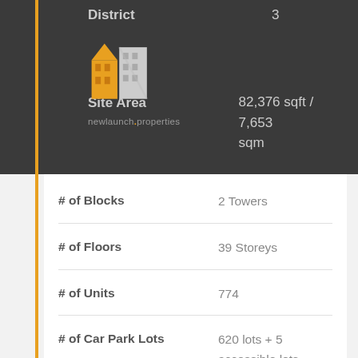| Attribute | Value |
| --- | --- |
| District | 3 |
| Site Area | 82,376 sqft / 7,653 sqm |
| # of Blocks | 2 Towers |
| # of Floors | 39 Storeys |
| # of Units | 774 |
| # of Car Park Lots | 620 lots + 5 accessible lots
Motorcycle Lots: 31 lots
Bicycle Lots: 194 lots |